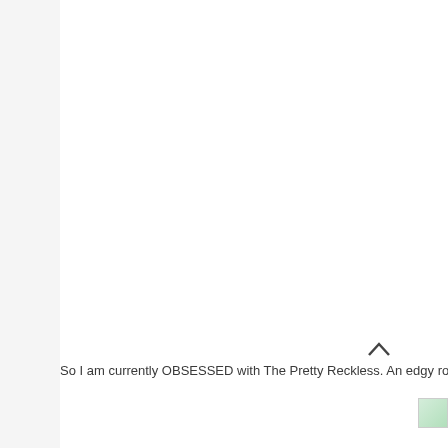So I am currently OBSESSED with The Pretty Reckless. An edgy rock b...
[Figure (illustration): A small broken/placeholder image icon with green tones in the bottom right corner]